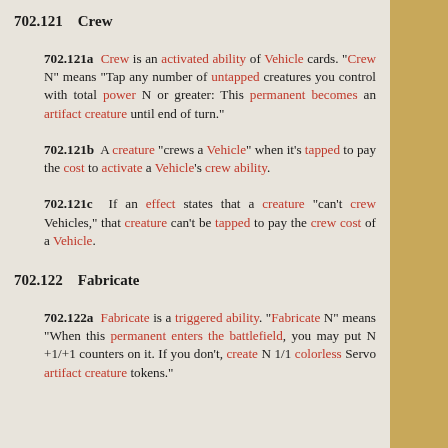702.121    Crew
702.121a  Crew is an activated ability of Vehicle cards. "Crew N" means "Tap any number of untapped creatures you control with total power N or greater: This permanent becomes an artifact creature until end of turn."
702.121b  A creature "crews a Vehicle" when it's tapped to pay the cost to activate a Vehicle's crew ability.
702.121c  If an effect states that a creature "can't crew Vehicles," that creature can't be tapped to pay the crew cost of a Vehicle.
702.122    Fabricate
702.122a  Fabricate is a triggered ability. "Fabricate N" means "When this permanent enters the battlefield, you may put N +1/+1 counters on it. If you don't, create N 1/1 colorless Servo artifact creature tokens."